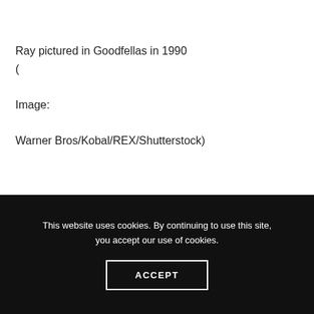Ray pictured in Goodfellas in 1990
(

Image:

Warner Bros/Kobal/REX/Shutterstock)
This website uses cookies. By continuing to use this site, you accept our use of cookies.
ACCEPT